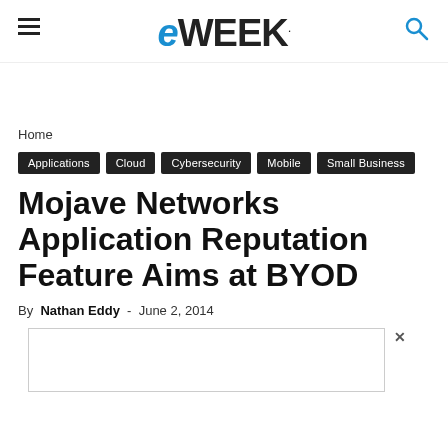eWEEK
Home
Applications
Cloud
Cybersecurity
Mobile
Small Business
Mojave Networks Application Reputation Feature Aims at BYOD
By Nathan Eddy - June 2, 2014